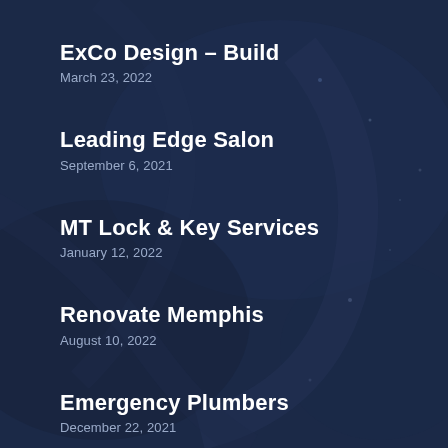ExCo Design – Build
March 23, 2022
Leading Edge Salon
September 6, 2021
MT Lock & Key Services
January 12, 2022
Renovate Memphis
August 10, 2022
Emergency Plumbers
December 22, 2021